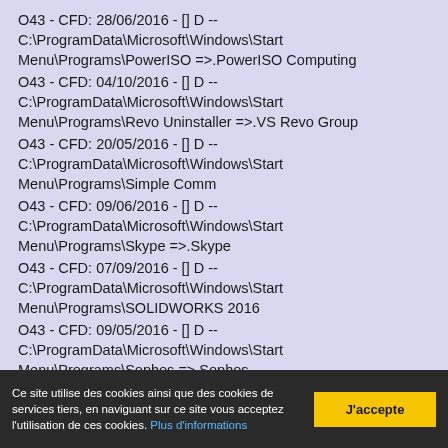O43 - CFD: 28/06/2016 - [] D -- C:\ProgramData\Microsoft\Windows\Start Menu\Programs\PowerISO =>.PowerISO Computing
O43 - CFD: 04/10/2016 - [] D -- C:\ProgramData\Microsoft\Windows\Start Menu\Programs\Revo Uninstaller =>.VS Revo Group
O43 - CFD: 20/05/2016 - [] D -- C:\ProgramData\Microsoft\Windows\Start Menu\Programs\Simple Comm
O43 - CFD: 09/06/2016 - [] D -- C:\ProgramData\Microsoft\Windows\Start Menu\Programs\Skype =>.Skype
O43 - CFD: 07/09/2016 - [] D -- C:\ProgramData\Microsoft\Windows\Start Menu\Programs\SOLIDWORKS 2016
O43 - CFD: 09/05/2016 - [] D -- C:\ProgramData\Microsoft\Windows\Start Menu\Programs\Sophos =>.Sophos
O43 - CFD: 27/05/2016 - [] D --
Ce site utilise des cookies ainsi que des cookies de services tiers, en naviguant sur ce site vous acceptez l'utilisation de ces cookies. Plus d'informations